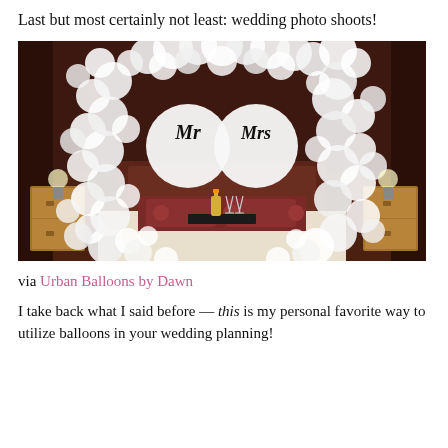Last but most certainly not least: wedding photo shoots!
[Figure (photo): A bedroom decorated with a large arch made of white balloons surrounding a bed. Two large balloons in the center read 'Mr' and 'Mrs'. A tray with champagne bottle and glasses sits on the bed.]
via Urban Balloons by Dawn
I take back what I said before — this is my personal favorite way to utilize balloons in your wedding planning!